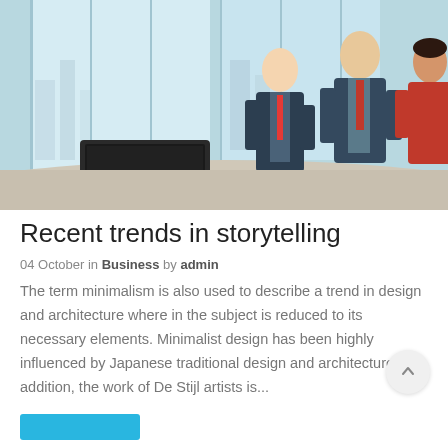[Figure (photo): Business meeting scene: three people in business attire standing and talking near large windows in a modern office. A laptop and documents with charts are visible on the desk in the foreground.]
Recent trends in storytelling
04 October in Business by admin
The term minimalism is also used to describe a trend in design and architecture where in the subject is reduced to its necessary elements. Minimalist design has been highly influenced by Japanese traditional design and architecture. In addition, the work of De Stijl artists is...